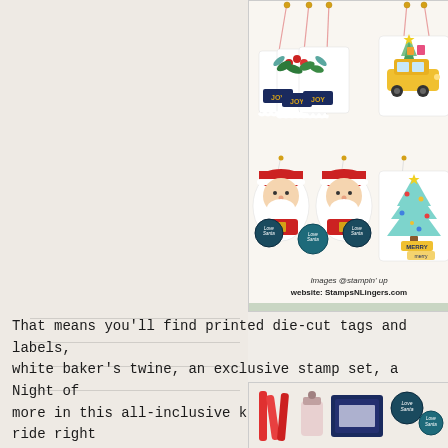[Figure (illustration): Christmas gift tags and decorations showing JOY tags with holly, a yellow car with Christmas tree, Santa Claus figures with circular labels, and a decorated Christmas tree with MERRY labels. Watermark: Images @stampin' up, website: StampsNLingers.com]
That means you'll find printed die-cut tags and labels, white baker's twine, an exclusive stamp set, a Night of more in this all-inclusive kit!  You can sleigh ride right
[Figure (photo): Bottom portion showing craft kit items including red markers/tools, a small container, a dark navy rectangular item, and circular labels.]